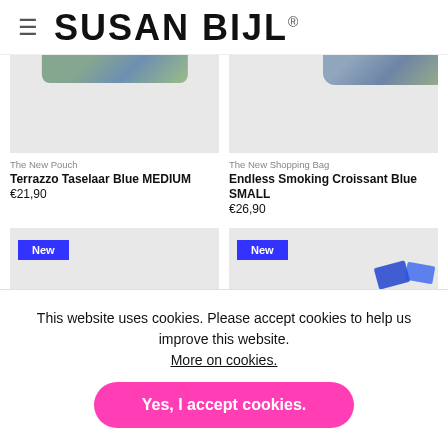SUSAN BIJL®
[Figure (photo): Product image of Terrazzo Taselaar Blue MEDIUM pouch, light gray background with colorful top portion visible]
The New Pouch
Terrazzo Taselaar Blue MEDIUM
€21,90
[Figure (photo): Product image of Endless Smoking Croissant Blue SMALL shopping bag, light gray background with colorful top portion visible]
The New Shopping Bag
Endless Smoking Croissant Blue SMALL
€26,90
[Figure (photo): New product image with blue badge, light gray background]
[Figure (photo): New product image with blue badge and blue items visible, light gray background]
This website uses cookies. Please accept cookies to help us improve this website. More on cookies.